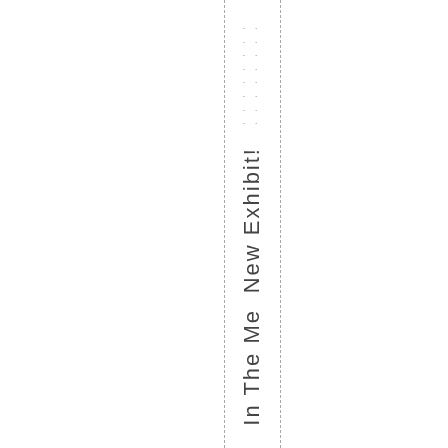. .  . .  . .  . .  . .  . .  . .  . .
New Exhibit!
In The Me